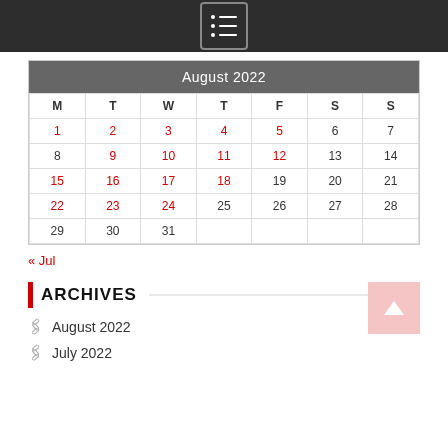Menu icon / navigation bar
| M | T | W | T | F | S | S |
| --- | --- | --- | --- | --- | --- | --- |
| 1 | 2 | 3 | 4 | 5 | 6 | 7 |
| 8 | 9 | 10 | 11 | 12 | 13 | 14 |
| 15 | 16 | 17 | 18 | 19 | 20 | 21 |
| 22 | 23 | 24 | 25 | 26 | 27 | 28 |
| 29 | 30 | 31 |  |  |  |  |
« Jul
ARCHIVES
August 2022
July 2022